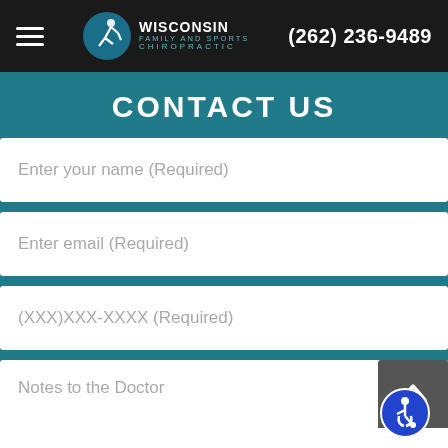Wisconsin Family and Sports Chiropractic — (262) 236-9489
CONTACT US
Enter your name (Required)
Enter email (Required)
(XXX)XXX-XXXX (Required)
Notes to the Doctor
[Figure (logo): Wisconsin Family and Sports Chiropractic logo with running figure]
[Figure (illustration): Scroll-to-top button with upward chevron arrow]
[Figure (illustration): Blue accessibility (wheelchair) icon]